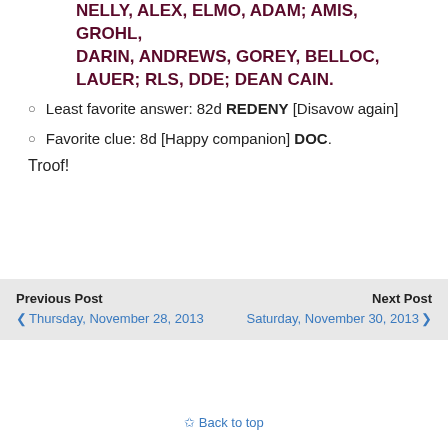LILA, ELLA, LORNA, PAULINE, SHANIA, NELLY, ALEX, ELMO, ADAM; AMIS, GROHL, DARIN, ANDREWS, GOREY, BELLOC, LAUER; RLS, DDE; DEAN CAIN.
Least favorite answer: 82d REDENY [Disavow again]
Favorite clue: 8d [Happy companion] DOC.
Troof!
Previous Post | Thursday, November 28, 2013 | Next Post | Saturday, November 30, 2013
Back to top